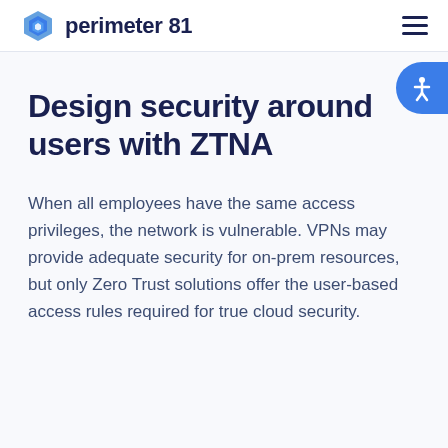perimeter 81
Design security around users with ZTNA
When all employees have the same access privileges, the network is vulnerable. VPNs may provide adequate security for on-prem resources, but only Zero Trust solutions offer the user-based access rules required for true cloud security.